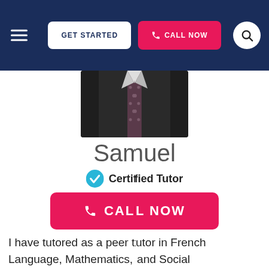GET STARTED | CALL NOW
[Figure (photo): Photo of tutor Samuel wearing a dark suit and patterned tie, cropped to show torso and lower face]
Samuel
Certified Tutor
CALL NOW
I have tutored as a peer tutor in French Language, Mathematics, and Social Studies/Sciences since I was in high school and have taken 2 and a half years worth of education course work. I am here to help and cannot wait to help you learn in the best way possible for...